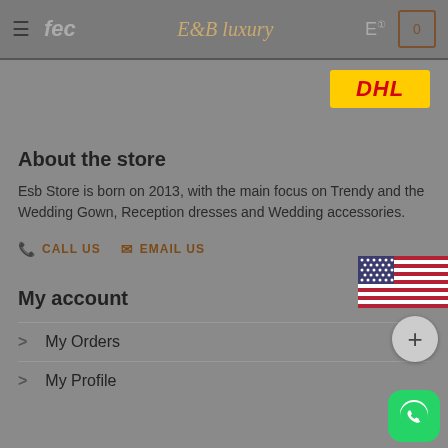E&B Luxury store header with hamburger menu, fec logo, cart icon
[Figure (logo): DHL yellow and red logo]
About the store
Esb Store is born on 2013, with the main focus on Trendy and Wedding Gown, Reception dresses and Wedding accessories.
CALL US   EMAIL US
[Figure (illustration): US flag]
[Figure (other): Plus button circle]
My account
> My Orders
> My Profile
[Figure (logo): WhatsApp green icon button]